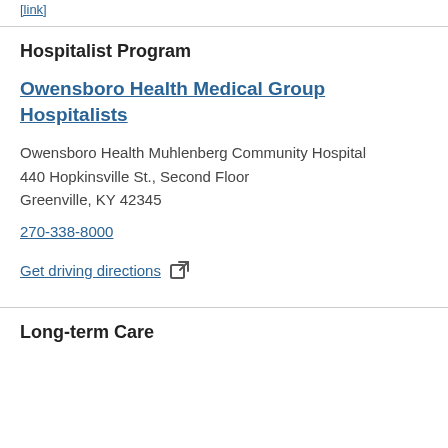[link at top — partially visible]
Hospitalist Program
Owensboro Health Medical Group Hospitalists
Owensboro Health Muhlenberg Community Hospital
440 Hopkinsville St., Second Floor
Greenville, KY 42345
270-338-8000
Get driving directions
Long-term Care